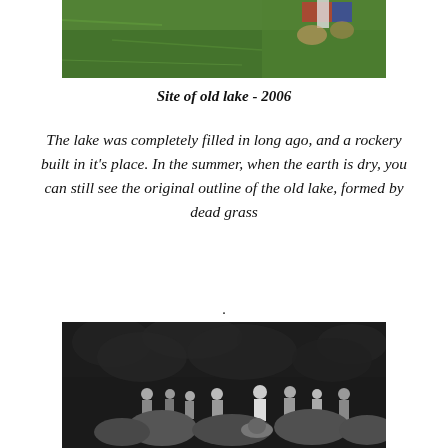[Figure (photo): Partial view of green grass with people visible at the top right edge — upper portion cropped photo of site of old lake in 2006]
Site of old lake - 2006
The lake was completely filled in long ago, and a rockery built in it's place. In the summer, when the earth is dry, you can still see the original outline of the old lake, formed by dead grass
.
[Figure (photo): Black and white historical photograph showing a group of people standing on and around a rocky/boulder area with dense foliage in the background]